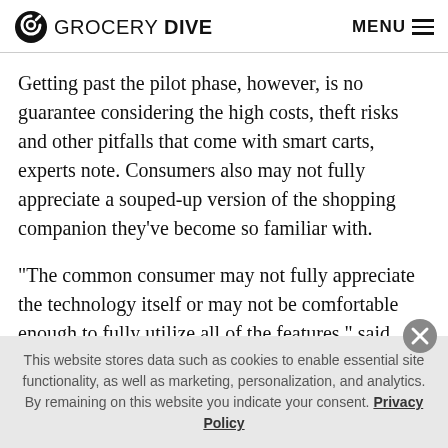GROCERY DIVE  MENU
Getting past the pilot phase, however, is no guarantee considering the high costs, theft risks and other pitfalls that come with smart carts, experts note. Consumers also may not fully appreciate a souped-up version of the shopping companion they’ve become so familiar with.
“The common consumer may not fully appreciate the technology itself or may not be comfortable enough to fully utilize all of the features,” said Sylvain Charlebois
This website stores data such as cookies to enable essential site functionality, as well as marketing, personalization, and analytics. By remaining on this website you indicate your consent. Privacy Policy